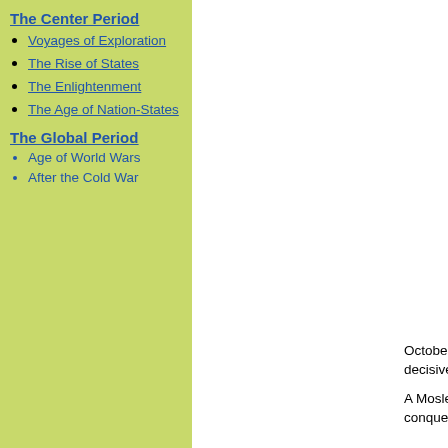The Center Period
Voyages of Exploration
The Rise of States
The Enlightenment
The Age of Nation-States
The Global Period
Age of World Wars
After the Cold War
October 10, 732 AD marks the co... decisive battles in all of history.
A Moslem army, in a crusading se... conquest of Syria, Egypt, and No...